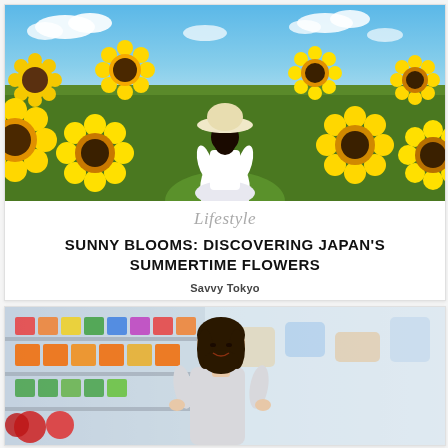[Figure (photo): Woman in white dress and wide-brim hat standing in a sunflower field, viewed from behind, blue sky with clouds in background]
Lifestyle
SUNNY BLOOMS: DISCOVERING JAPAN'S SUMMERTIME FLOWERS
Savvy Tokyo
[Figure (photo): Woman with dark hair smiling in a colorful supermarket or flower shop, produce and bright orange items visible in background]